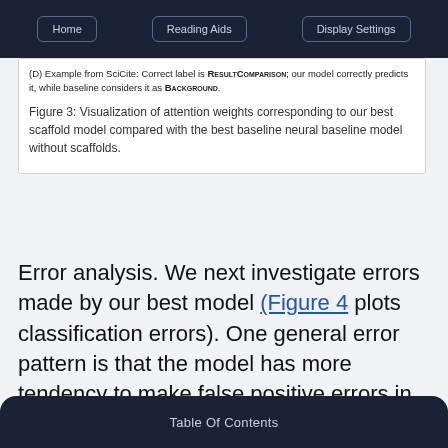Home | Reading Aids | Display Settings
(D) Example from SciCite: Correct label is RESULTCOMPARISON; our model correctly predicts it, while baseline considers it as BACKGROUND.
Figure 3: Visualization of attention weights corresponding to our best scaffold model compared with the best baseline neural baseline model without scaffolds.
Error analysis. We next investigate errors made by our best model (Figure 4 plots classification errors). One general error pattern is that the model has more tendency to make false positive errors in the BACKGROUND category likely due to this category dominating the dataset. It...
Table Of Contents